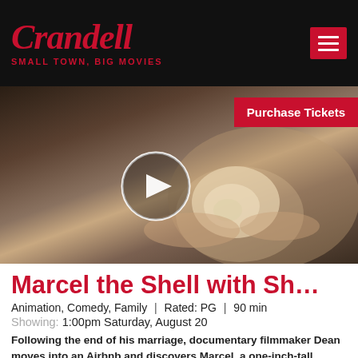Crandell — SMALL TOWN, BIG MOVIES
[Figure (screenshot): Video thumbnail showing a close-up of a small shell character (Marcel) being held, with blurred background. A circular play button is overlaid in the center. A red 'Purchase Tickets' button is in the top right.]
Marcel the Shell with Sh…
Animation, Comedy, Family  |  Rated: PG  |  90 min
Showing: 1:00pm Saturday, August 20
Following the end of his marriage, documentary filmmaker Dean moves into an Airbnb and discovers Marcel, a one-inch-tall talking shell living in the home with his grandmother, Nanna Connie and Alan, his pet ball of lint